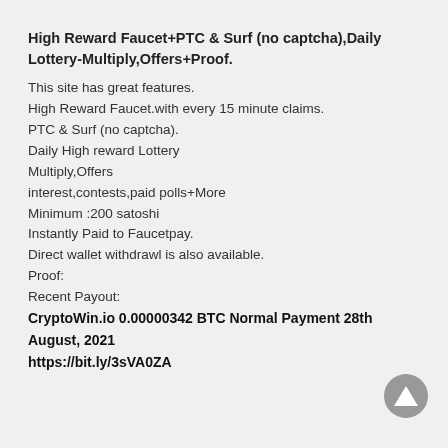High Reward Faucet+PTC & Surf (no captcha),Daily Lottery-Multiply,Offers+Proof.
This site has great features.
High Reward Faucet.with every 15 minute claims.
PTC & Surf (no captcha).
Daily High reward Lottery
Multiply,Offers
interest,contests,paid polls+More
Minimum :200 satoshi
Instantly Paid to Faucetpay.
Direct wallet withdrawl is also available.
Proof:
Recent Payout:
CryptoWin.io 0.00000342 BTC Normal Payment 28th August, 2021 https://bit.ly/3sVA0ZA